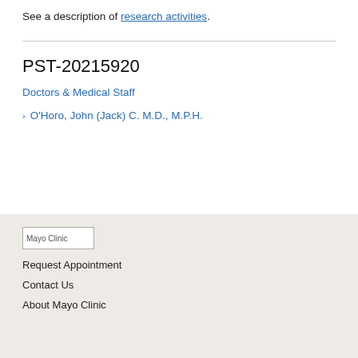See a description of research activities.
PST-20215920
Doctors & Medical Staff
O'Horo, John (Jack) C. M.D., M.P.H.
[Figure (logo): Mayo Clinic logo]
Request Appointment
Contact Us
About Mayo Clinic